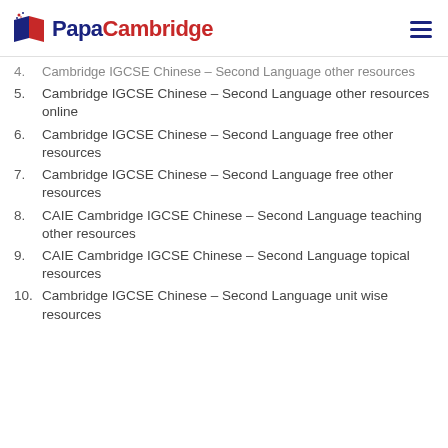PapaCambridge
4. Cambridge IGCSE Chinese – Second Language other resources
5. Cambridge IGCSE Chinese – Second Language other resources online
6. Cambridge IGCSE Chinese – Second Language free other resources
7. Cambridge IGCSE Chinese – Second Language free other resources
8. CAIE Cambridge IGCSE Chinese – Second Language teaching other resources
9. CAIE Cambridge IGCSE Chinese – Second Language topical resources
10. Cambridge IGCSE Chinese – Second Language unit wise resources